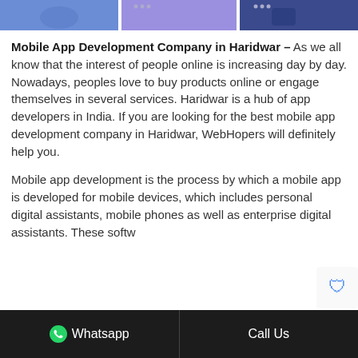[Figure (photo): Banner image showing mobile app development illustrations with purple/blue theme across the top of the page]
Mobile App Development Company in Haridwar – As we all know that the interest of people online is increasing day by day. Nowadays, peoples love to buy products online or engage themselves in several services. Haridwar is a hub of app developers in India. If you are looking for the best mobile app development company in Haridwar, WebHopers will definitely help you.
Mobile app development is the process by which a mobile app is developed for mobile devices, which includes personal digital assistants, mobile phones as well as enterprise digital assistants. These softw...
Whatsapp   Call Us